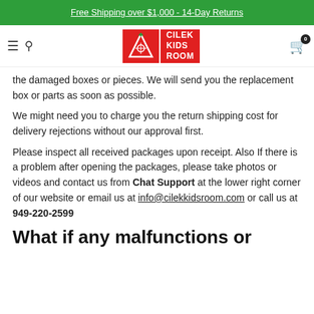Free Shipping over $1,000 - 14-Day Returns
[Figure (logo): Cilek Kids Room logo - red background with strawberry icon and text CILEK KIDS ROOM]
the damaged boxes or pieces. We will send you the replacement box or parts as soon as possible.
We might need you to charge you the return shipping cost for delivery rejections without our approval first.
Please inspect all received packages upon receipt. Also If there is a problem after opening the packages, please take photos or videos and contact us from Chat Support at the lower right corner of our website or email us at info@cilekkidsroom.com or call us at 949-220-2599
What if any malfunctions or